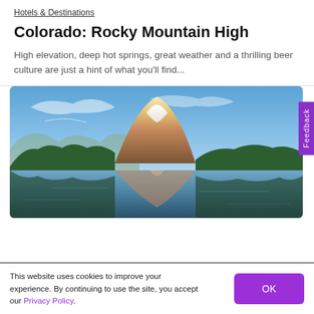Hotels & Destinations
Colorado: Rocky Mountain High
High elevation, deep hot springs, great weather and a thrilling beer culture are just a hint of what you'll find...
[Figure (photo): Snow-capped mountain reflected in a calm lake at sunset, surrounded by pine forest trees. Golden light on the mountain peak. Blue sky with light clouds.]
This website uses cookies to improve your experience. By continuing to use the site, you accept our Privacy Policy.